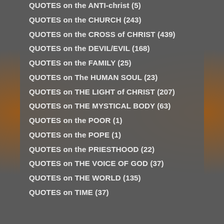QUOTES on the ANTI-christ (5)
QUOTES on the CHURCH (243)
QUOTES on the CROSS of CHRIST (439)
QUOTES on the DEVIL/EVIL (168)
QUOTES on the FAMILY (25)
QUOTES on The HUMAN SOUL (23)
QUOTES on THE LIGHT of CHRIST (207)
QUOTES on THE MYSTICAL BODY (63)
QUOTES on the POOR (1)
QUOTES on the POPE (1)
QUOTES on the PRIESTHOOD (22)
QUOTES on THE VOICE OF GOD (37)
QUOTES on THE WORLD (135)
QUOTES on TIME (37)